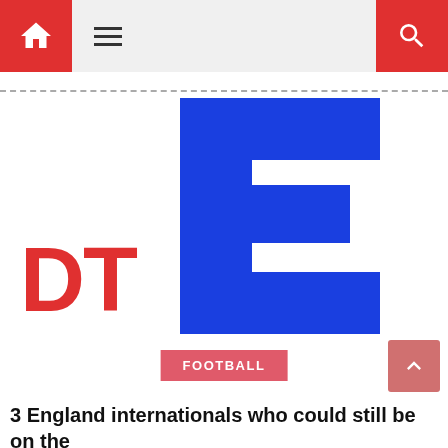[Figure (logo): Navigation bar with red home button, hamburger menu, and red search button on grey background]
[Figure (logo): DTE logo: red 'DT' letters and large blue 'E' letter forming the brand logo]
FOOTBALL
3 England internationals who could still be on the